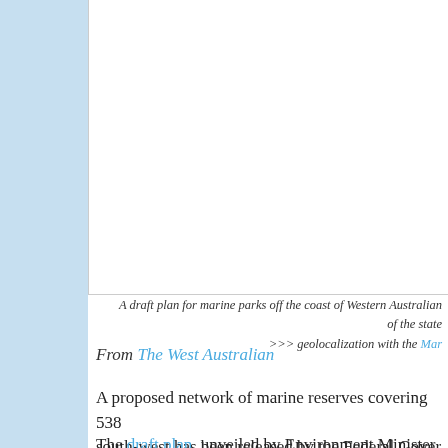[Figure (photo): White rectangular image area representing a map or photo of marine parks off the coast of Western Australia]
A draft plan for marine parks off the coast of Western Australian... of the state
>>> geolocalization with the Mar...
From The West Australian
A proposed network of marine reserves covering 538... south-west has been released by the Federal Gover...
The draft plan, unveiled by Environment Minister To... covers breeding and feeding grounds for sea lions, s...
It also includes the Perth Canyon, a deep sea canyо... that is popular with recreational fishers.